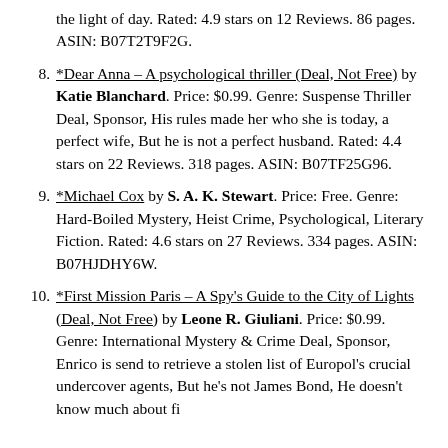(partial) the light of day. Rated: 4.9 stars on 12 Reviews. 86 pages. ASIN: B07T2T9F2G.
8. *Dear Anna – A psychological thriller (Deal, Not Free) by Katie Blanchard. Price: $0.99. Genre: Suspense Thriller Deal, Sponsor, His rules made her who she is today, a perfect wife, But he is not a perfect husband. Rated: 4.4 stars on 22 Reviews. 318 pages. ASIN: B07TF25G96.
9. *Michael Cox by S. A. K. Stewart. Price: Free. Genre: Hard-Boiled Mystery, Heist Crime, Psychological, Literary Fiction. Rated: 4.6 stars on 27 Reviews. 334 pages. ASIN: B07HJDHY6W.
10. *First Mission Paris – A Spy's Guide to the City of Lights (Deal, Not Free) by Leone R. Giuliani. Price: $0.99. Genre: International Mystery & Crime Deal, Sponsor, Enrico is send to retrieve a stolen list of Europol's crucial undercover agents, But he's not James Bond, He doesn't know much about fighting, or kissing, or killing. Rated: 4.4 stars...